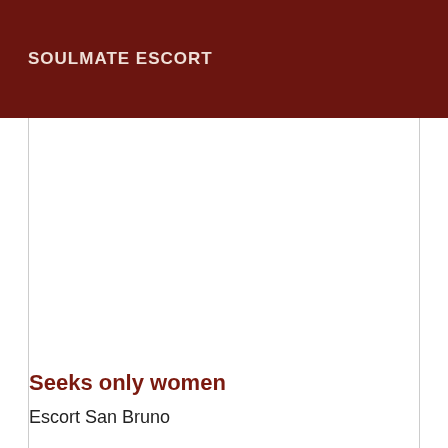SOULMATE ESCORT
Seeks only women
Escort San Bruno